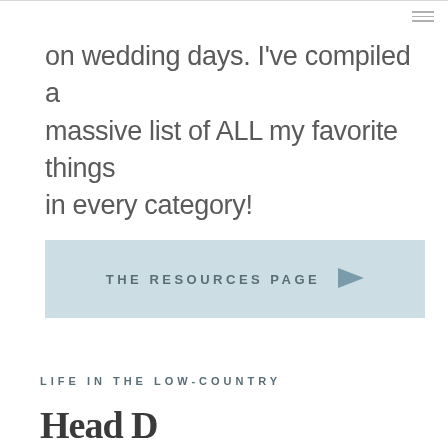on wedding days. I've compiled a massive list of ALL my favorite things in every category!
[Figure (other): Light blue button with text 'THE RESOURCES PAGE' and a paper airplane arrow icon pointing right]
LIFE IN THE LOW-COUNTRY
Head D...